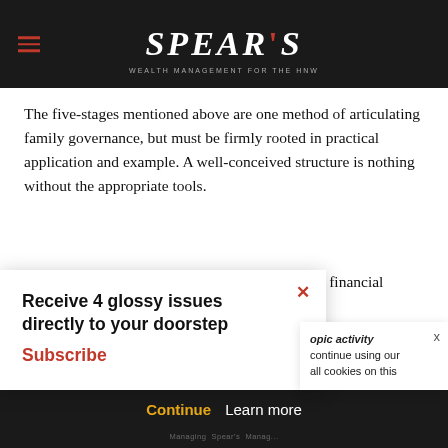SPEAR'S
The five-stages mentioned above are one method of articulating family governance, but must be firmly rooted in practical application and example. A well-conceived structure is nothing without the appropriate tools.
Education might begin with learning about basic financial principles, then move to successor councils and …ily involve the …t junior …
Receive 4 glossy issues directly to your doorstep Subscribe
…opic activity …continue using our …all cookies on this
Continue   Learn more